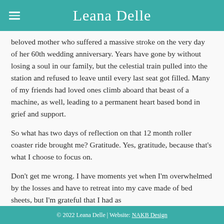Leana Delle
beloved mother who suffered a massive stroke on the very day of her 60th wedding anniversary. Years have gone by without losing a soul in our family, but the celestial train pulled into the station and refused to leave until every last seat got filled. Many of my friends had loved ones climb aboard that beast of a machine, as well, leading to a permanent heart based bond in grief and support.
So what has two days of reflection on that 12 month roller coaster ride brought me? Gratitude. Yes, gratitude, because that's what I choose to focus on.
Don't get me wrong. I have moments yet when I'm overwhelmed by the losses and have to retreat into my cave made of bed sheets, but I'm grateful that I had as
© 2022 Leana Delle | Website: NAKB Design